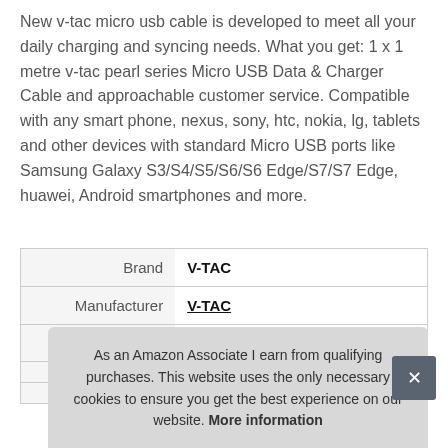New v-tac micro usb cable is developed to meet all your daily charging and syncing needs. What you get: 1 x 1 metre v-tac pearl series Micro USB Data & Charger Cable and approachable customer service. Compatible with any smart phone, nexus, sony, htc, nokia, lg, tablets and other devices with standard Micro USB ports like Samsung Galaxy S3/S4/S5/S6/S6 Edge/S7/S7 Edge, huawei, Android smartphones and more.
| Brand | V-TAC |
| Manufacturer | V-TAC |
| Height | 0.70 cm (1.1 Inches) |
As an Amazon Associate I earn from qualifying purchases. This website uses the only necessary cookies to ensure you get the best experience on our website. More information